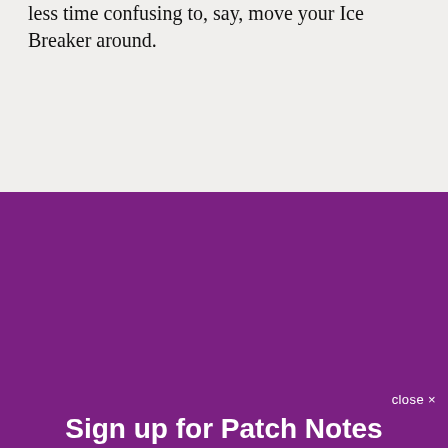less time confusing to, say, move your Ice Breaker around.
Sign up for Patch Notes
A weekly roundup of the best things from Polygon
Email (required)
SUBSCRIBE
By submitting your email, you agree to our Terms and Privacy Notice. You can opt out at any time. This site is protected by reCAPTCHA and the Google Privacy Policy and Terms of Service apply.